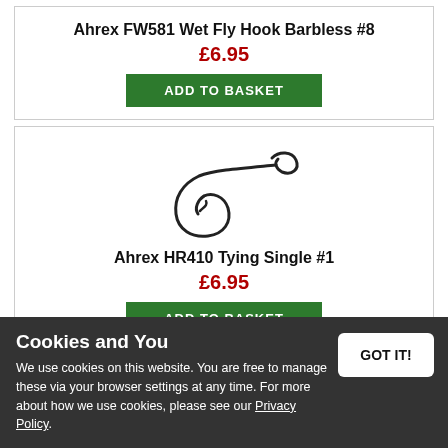Ahrex FW581 Wet Fly Hook Barbless #8
£6.95
ADD TO BASKET
[Figure (illustration): Line illustration of a fishing hook - Ahrex HR410 Tying Single style, showing curved hook with point and eye]
Ahrex HR410 Tying Single #1
£6.95
ADD TO BASKET
Cookies and You
We use cookies on this website. You are free to manage these via your browser settings at any time. For more about how we use cookies, please see our Privacy Policy.
GOT IT!
Ahrex HR410 Tying Single #1/0
£6.95